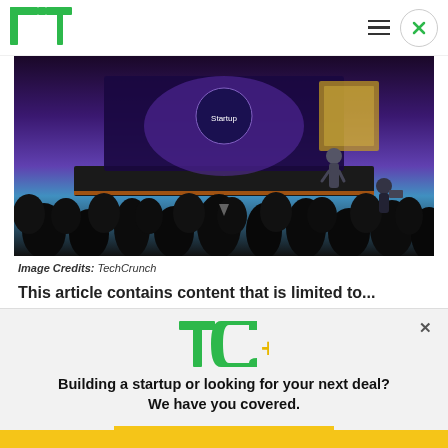[Figure (logo): TechCrunch TC logo in green in the top-left navigation bar]
[Figure (photo): Conference stage photo showing a presenter on stage with purple/blue lighting and audience silhouettes in the foreground]
Image Credits: TechCrunch
This article contains content that is limited to...
[Figure (logo): TC+ logo with green TC letters and yellow/green plus sign]
Building a startup or looking for your next deal? We have you covered.
EXPLORE NOW